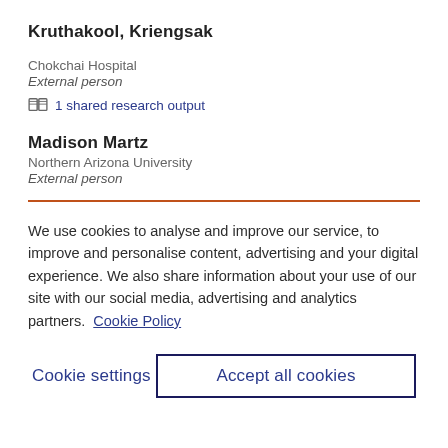Kruthakool, Kriengsak
Chokchai Hospital
External person
1 shared research output
Madison Martz
Northern Arizona University
External person
We use cookies to analyse and improve our service, to improve and personalise content, advertising and your digital experience. We also share information about your use of our site with our social media, advertising and analytics partners.  Cookie Policy
Cookie settings
Accept all cookies